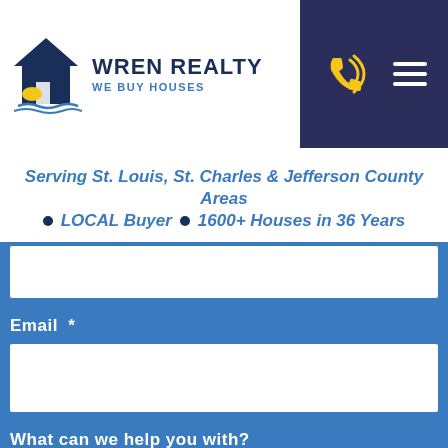[Figure (logo): Wren Realty logo with house/bird silhouette icon and blue text reading WREN REALTY / WE BUY HOUSES]
Serving St. Louis, St. Charles & Jefferson County Areas • LOCAL Buyer • 1600+ Houses in 36 Years
Email *
What can we help you with?